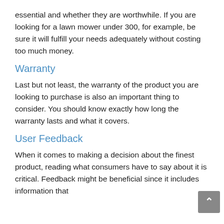essential and whether they are worthwhile. If you are looking for a lawn mower under 300, for example, be sure it will fulfill your needs adequately without costing too much money.
Warranty
Last but not least, the warranty of the product you are looking to purchase is also an important thing to consider. You should know exactly how long the warranty lasts and what it covers.
User Feedback
When it comes to making a decision about the finest product, reading what consumers have to say about it is critical. Feedback might be beneficial since it includes information that